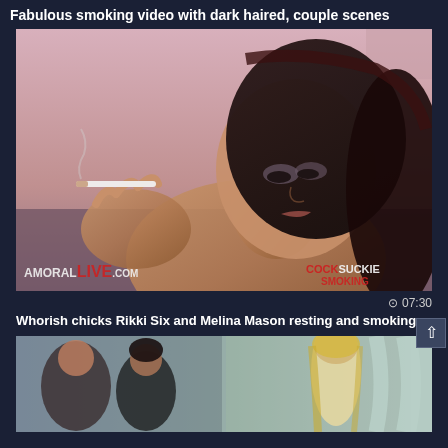Fabulous smoking video with dark haired, couple scenes
[Figure (photo): Video thumbnail showing a dark-haired woman holding a cigarette against a pink wall background, with watermarks 'AmoralLive.com' on left and 'CockSuckie...' on right]
⊙ 07:30
Whorish chicks Rikki Six and Melina Mason resting and smoking
[Figure (photo): Video thumbnail showing multiple people in a room with curtains, including a blonde woman in a light dress and others in darker clothing]